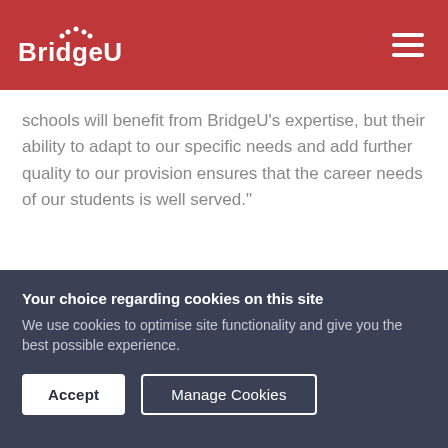BridgeU
schools will benefit from BridgeU’s expertise, but their ability to adapt to our specific needs and add further quality to our provision ensures that the career needs of our students is well served.”
Your choice regarding cookies on this site
We use cookies to optimise site functionality and give you the best possible experience.
Accept
Manage Cookies